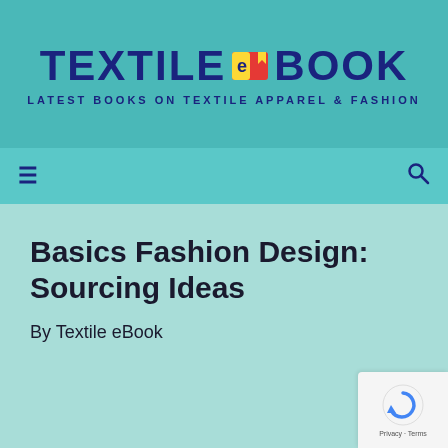[Figure (logo): Textile eBook logo with dark blue bold text 'TEXTILE BOOK' with a colorful book icon in the middle, on a teal background. Tagline: LATEST BOOKS ON TEXTILE APPAREL & FASHION]
LATEST BOOKS ON TEXTILE APPAREL & FASHION
Basics Fashion Design: Sourcing Ideas
By Textile eBook